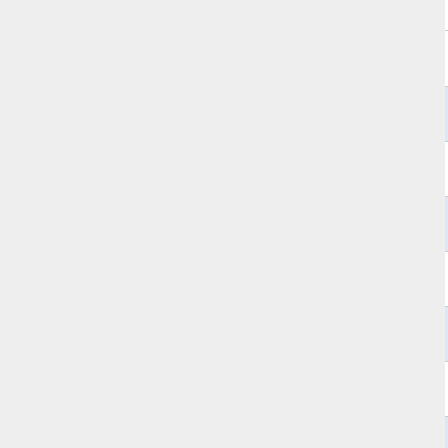| Country | Host |
| --- | --- |
| FI | tick.keso.fi |
| FR | ntp1.kamino.fr |
| FR | ntp.hds-tech.fr |
| FR | ntp.ilianum.com |
| FR | ntp.hoffie.info |
| FR | ntp.trisect.eu |
| FR | ntp.giteafuntana.com |
| FR | ntp4.berlin-provider.de |
| FR | ntp.neo.consult-in.fr |